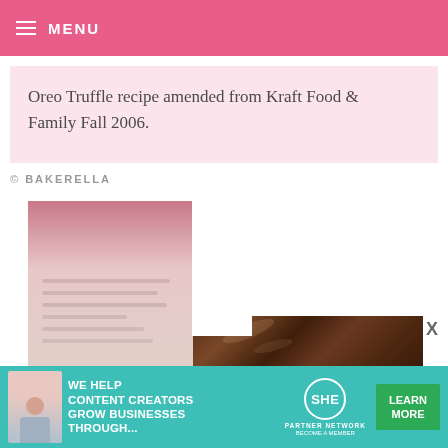MENU
Oreo Truffle recipe amended from Kraft Food & Family Fall 2006.
© BAKERELLA
[Figure (photo): A blurred recipe card with pink and cream tones showing lines of text, partially overlapping a glossy dark chocolate photo at the bottom right.]
[Figure (other): Advertisement banner: WE HELP CONTENT CREATORS GROW BUSINESSES THROUGH... SHE PARTNER NETWORK BECOME A MEMBER — LEARN MORE]